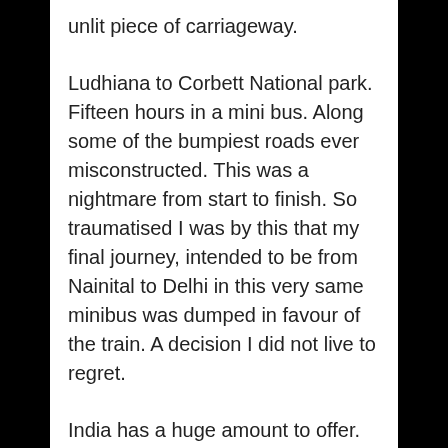unlit piece of carriageway.
Ludhiana to Corbett National park. Fifteen hours in a mini bus. Along some of the bumpiest roads ever misconstructed. This was a nightmare from start to finish. So traumatised I was by this that my final journey, intended to be from Nainital to Delhi in this very same minibus was dumped in favour of the train. A decision I did not live to regret.
India has a huge amount to offer. Temples, mountains, culture by the bucketloads and enough diahorrea to keep everyone busy. But the roads, the speed and the fearless head-on driving give this monumental country it's own